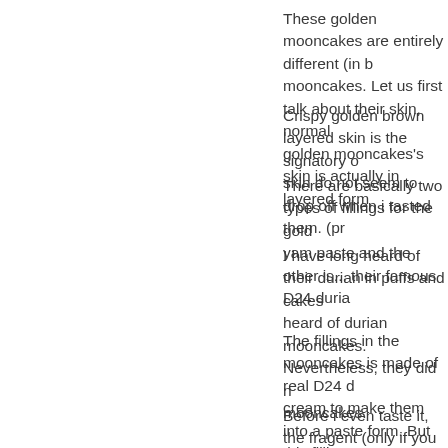These golden mooncakes are entirely different (in b mooncakes. Let us first talk about their skin, normal golden mooncakes's skin is actually in layered form
Crispy golden brown layered skin is the signatory o skin do not seem to drop off when i tasted them. (pr
There are basically two types of fillings for the gold yam paste and the other is... their famous D24 duria
I have long heard of their durian in puffs and cakes heard of durian mooncakes. Nevertheless, they did n mooncakes.
The fillings in the mooncakes is made of real D24 d cream to make them into a paste form. But this fillin (no white colour cream found).
Before i even taste it, the fragent (only if you are a d The combination of smooth durian paste and crispy Eventually, I polished down 2 mooncakes in one go
This is my highly recommended mooncake for this (what you expect when it come from famous hotel?) festival only occurs once a year. :P